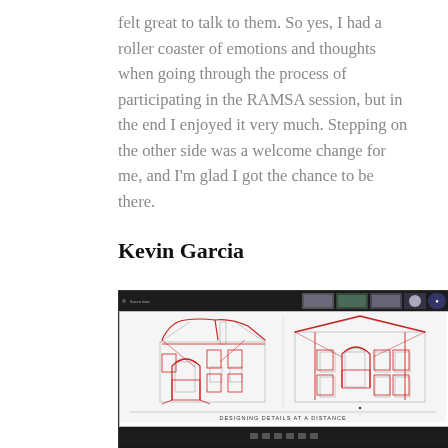felt great to talk to them. So yes, I had a roller coaster of emotions and thoughts when going through the process of participating in the RAMSA session, but in the end I enjoyed it very much. Stepping on the other side was a welcome change for me, and I'm glad I got the chance to be there.
Kevin Garcia
[Figure (screenshot): Screenshot of a video conference (Zoom) showing a presentation slide titled 'DESIGNING DETAILS AT A DISTANCE' with red sketch drawings of two classical building facades overlaid on architectural drawings.]